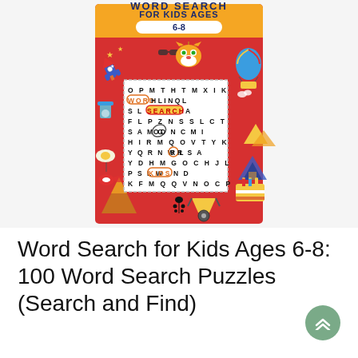[Figure (illustration): Book cover for 'Word Search for Kids Ages 6-8: 100 Word Search Puzzles (Search and Find)'. Red background with cartoon decorations (rocket, tiger, hot air balloon, volcano, birthday cake, ladybug, etc.), a white word-search grid in the center, and a yellow/orange banner at the top.]
Word Search for Kids Ages 6-8: 100 Word Search Puzzles (Search and Find)